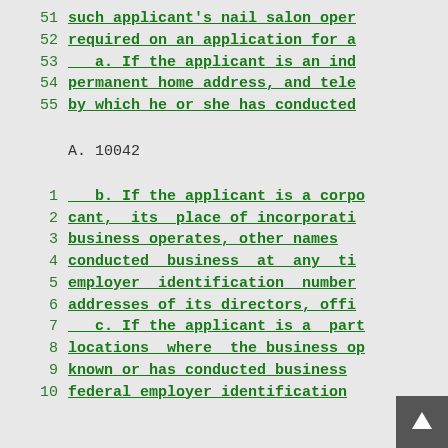51   such applicant's nail salon oper...
52   required on an application for a...
53       a. If the applicant is an ind...
54   permanent home address, and tele...
55   by which he or she has conducted...
A. 10042
1       b. If the applicant is a corpo...
2    cant,  its  place of incorporati...
3    business operates, other names...
4    conducted  business  at  any  ti...
5    employer  identification  number...
6    addresses of its directors, offi...
7       c. If the applicant is a  part...
8    locations  where  the business op...
9    known or has conducted business...
10   federal employer identification...